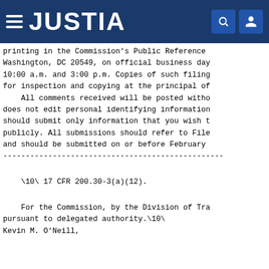JUSTIA
printing in the Commission's Public Reference
Washington, DC 20549, on official business day
10:00 a.m. and 3:00 p.m. Copies of such filing
for inspection and copying at the principal of
    All comments received will be posted witho
does not edit personal identifying information
should submit only information that you wish t
publicly. All submissions should refer to File
and should be submitted on or before February
--------------------------------------------------------------------------------
\10\ 17 CFR 200.30-3(a)(12).
For the Commission, by the Division of Tra
pursuant to delegated authority.\10\
Kevin M. O'Neill,